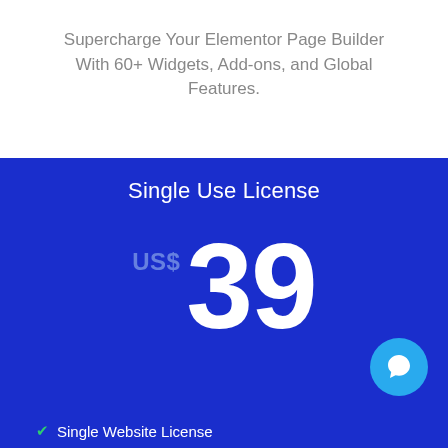Supercharge Your Elementor Page Builder With 60+ Widgets, Add-ons, and Global Features.
Single Use License
US$ 39
Single Website License